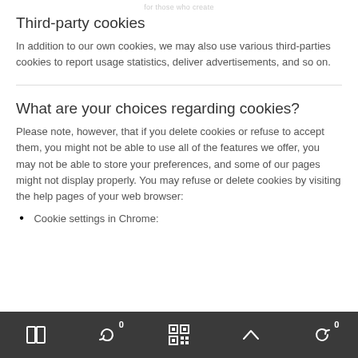for those who create
Third-party cookies
In addition to our own cookies, we may also use various third-parties cookies to report usage statistics, deliver advertisements, and so on.
What are your choices regarding cookies?
Please note, however, that if you delete cookies or refuse to accept them, you might not be able to use all of the features we offer, you may not be able to store your preferences, and some of our pages might not display properly. You may refuse or delete cookies by visiting the help pages of your web browser:
Cookie settings in Chrome: